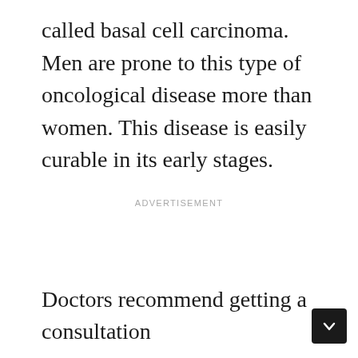called basal cell carcinoma. Men are prone to this type of oncological disease more than women. This disease is easily curable in its early stages.
ADVERTISEMENT
Doctors recommend getting a consultation